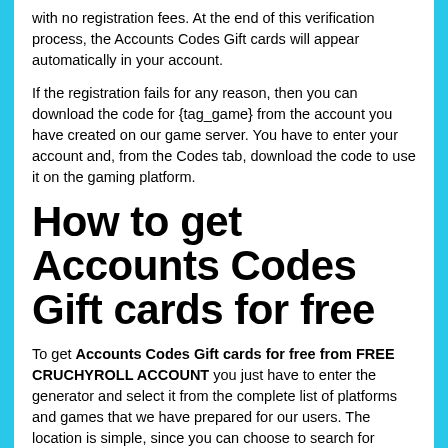with no registration fees. At the end of this verification process, the Accounts Codes Gift cards will appear automatically in your account.
If the registration fails for any reason, then you can download the code for {tag_game} from the account you have created on our game server. You have to enter your account and, from the Codes tab, download the code to use it on the gaming platform.
How to get Accounts Codes Gift cards for free
To get Accounts Codes Gift cards for free from FREE CRUCHYROLL ACCOUNT you just have to enter the generator and select it from the complete list of platforms and games that we have prepared for our users. The location is simple, since you can choose to search for FREE CRUCHYROLL ACCOUNT in the search engine or search by